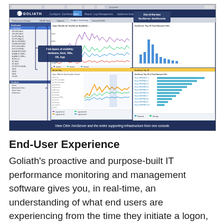[Figure (screenshot): Screenshot of Goliath IT performance monitoring software showing XenServer dashboards with multiple performance graphs, a left-side XenCenter integration panel with tree navigation, annotated callouts pointing to 'Out-of-the-box XenServer dashboards', 'Five layers of visibility: Hardware, Host, VMs, OS, App', and 'XenCenter integration'. The dashboard shows line charts and bar charts of performance metrics.]
View Citrix XenServer and the entire supporting infrastructure from one console.
End-User Experience
Goliath's proactive and purpose-built IT performance monitoring and management software gives you, in real-time, an understanding of what end users are experiencing from the time they initiate a logon, through the logon process, and while